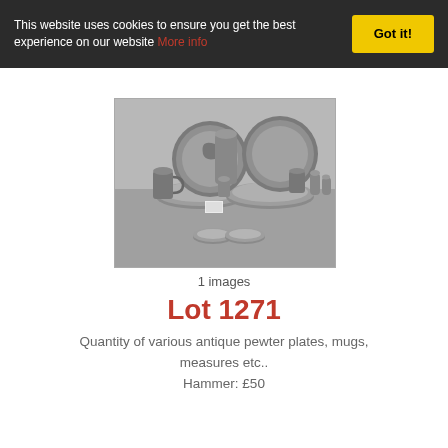This website uses cookies to ensure you get the best experience on our website More info
[Figure (photo): Collection of antique pewter plates, mugs, measures and other items arranged on a grey background]
1 images
Lot 1271
Quantity of various antique pewter plates, mugs, measures etc.. Hammer: £50